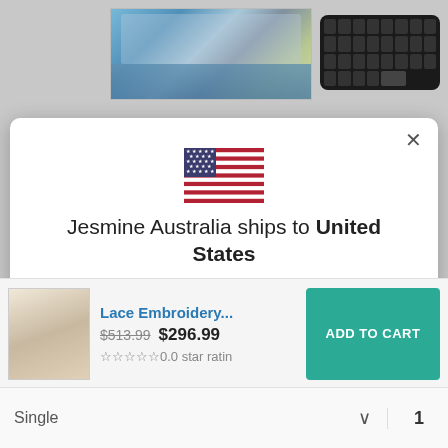[Figure (screenshot): Background showing partial product images - a landscape photo and a keyboard]
[Figure (illustration): US flag icon]
Jesmine Australia ships to United States
Shop in AUD $
Get shipping options for United States
[Figure (screenshot): SHOP NOW button - blue CTA]
[Figure (screenshot): Lace Embroidery product thumbnail]
Lace Embroidery...
$513.99 $296.99
☆☆☆☆☆0.0 star rating
ADD TO CART
Single
1